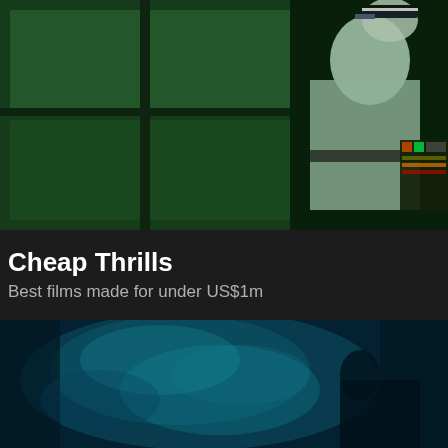[Figure (photo): Film still showing a person in a white lab coat or jacket holding equipment, with a green/teal tinted scene background featuring what appears to be windows or panels]
Cheap Thrills
Best films made for under US$1m
[Figure (photo): Film still with a blue/teal tinted atmospheric scene, showing misty or smoky environment with a silhouetted figure]